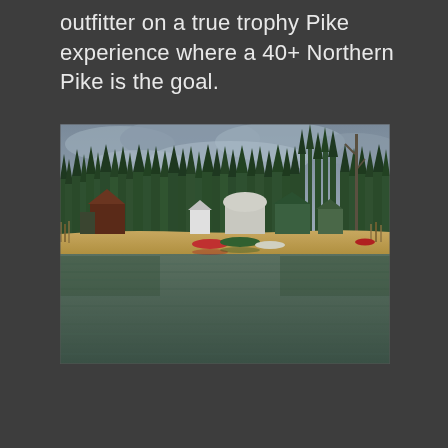outfitter on a true trophy Pike experience where a 40+ Northern Pike is the goal.
[Figure (photo): A lakeside fishing camp viewed from the water. A sandy shoreline with several outfitter cabins and buildings, green boats and equipment at the dock, dense coniferous forest behind the camp, overcast sky with grey clouds. The calm lake water is in the foreground reflecting the treeline and structures.]